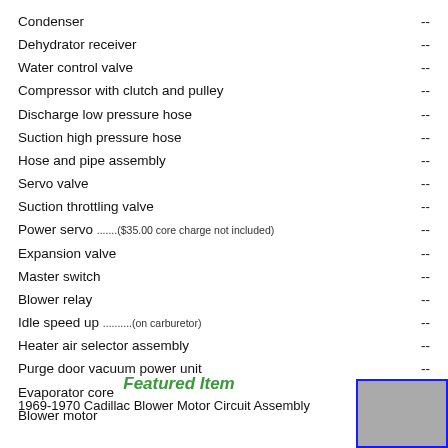Condenser --
Dehydrator receiver --
Water control valve --
Compressor with clutch and pulley --
Discharge low pressure hose --
Suction high pressure hose --
Hose and pipe assembly --
Servo valve --
Suction throttling valve --
Power servo .......($35.00 core charge not included) --
Expansion valve --
Master switch --
Blower relay --
Idle speed up ..........(on carburetor) --
Heater air selector assembly --
Purge door vacuum power unit --
Evaporator core --
Blower motor --
Featured Item
1969-1970 Cadillac Blower Motor Circuit Assembly